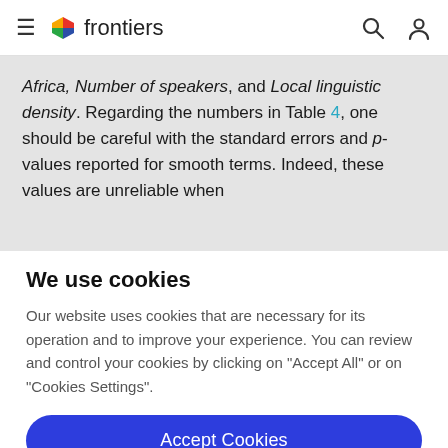frontiers
Africa, Number of speakers, and Local linguistic density. Regarding the numbers in Table 4, one should be careful with the standard errors and p-values reported for smooth terms. Indeed, these values are unreliable when
We use cookies
Our website uses cookies that are necessary for its operation and to improve your experience. You can review and control your cookies by clicking on "Accept All" or on "Cookies Settings".
Accept Cookies
Cookies Settings